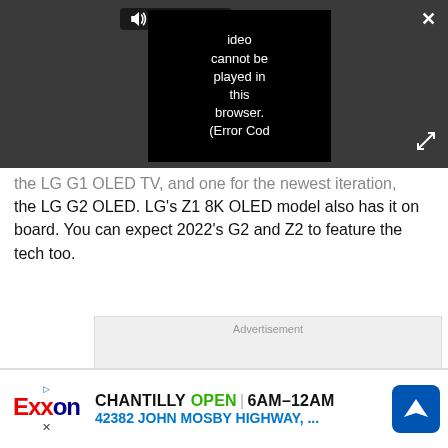[Figure (screenshot): Video player overlay on dark gray background showing PLAY SOUND button with speaker icon, close X button, expand icon, and a black video box with error message: 'Video cannot be played in this browser. (Error Cod']
the LG G1 OLED TV, and one for the newest iteration, the LG G2 OLED. LG's Z1 8K OLED model also has it on board. You can expect 2022's G2 and Z2 to feature the tech too.
[Figure (other): Advertisement placeholder box with light gray background labeled 'Advertisement']
[Figure (other): Bottom banner advertisement for Exxon station: CHANTILLY OPEN 6AM-12AM, 42382 JOHN MOSBY HIGHWAY, ... with Exxon logo and blue navigation icon]